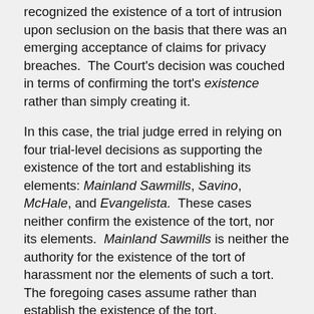recognized the existence of a tort of intrusion upon seclusion on the basis that there was an emerging acceptance of claims for privacy breaches.  The Court's decision was couched in terms of confirming the tort's existence rather than simply creating it.
In this case, the trial judge erred in relying on four trial-level decisions as supporting the existence of the tort and establishing its elements: Mainland Sawmills, Savino, McHale, and Evangelista.  These cases neither confirm the existence of the tort, nor its elements.  Mainland Sawmills is neither the authority for the existence of the tort of harassment nor the elements of such a tort.  The foregoing cases assume rather than establish the existence of the tort.
The common law does not and should not function in such a way as to recognize new torts as a matter of judicial discretion.  A court cannot create new torts anytime it considers it appropriate to do so.  Unlike Tsige, this is not a